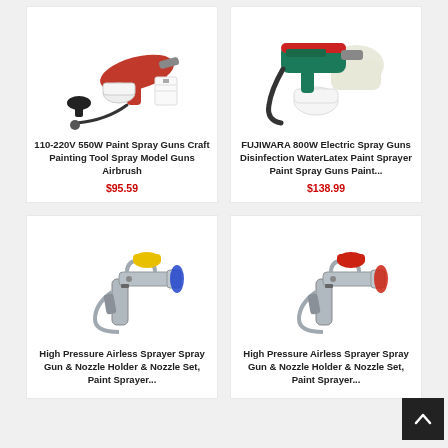[Figure (photo): 110-220V 550W Paint Spray Gun product photo showing red spray gun with accessories]
110-220V 550W Paint Spray Guns Craft Painting Tool Spray Model Guns Airbrush
$95.59
[Figure (photo): FUJIWARA 800W Electric Spray Gun product photo showing green/teal spray gun being held with gloved hand]
FUJIWARA 800W Electric Spray Guns Disinfection WaterLatex Paint Sprayer Paint Spray Guns Paint...
$138.99
[Figure (photo): High Pressure Airless Sprayer Spray Gun with blue and yellow nozzle holder]
High Pressure Airless Sprayer Spray Gun & Nozzle Holder & Nozzle Set, Paint Sprayer...
[Figure (photo): High Pressure Airless Sprayer Spray Gun with red nozzle holder]
High Pressure Airless Sprayer Spray Gun & Nozzle Holder & Nozzle Set, Paint Sprayer...